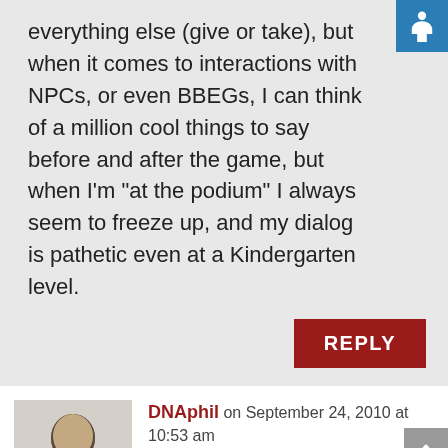everything else (give or take), but when it comes to interactions with NPCs, or even BBEGs, I can think of a million cool things to say before and after the game, but when I'm "at the podium" I always seem to freeze up, and my dialog is pathetic even at a Kindergarten level.
REPLY
DNAphil on September 24, 2010 at 10:53 am
@Spitfire665- I classify dialog into two parts: Key Dialog and Fluff.
Key Dialog- These are the important things that an NPC has to tell the PC. Clues in a mystery, an important fact about the dungeon, the location of the space port. If